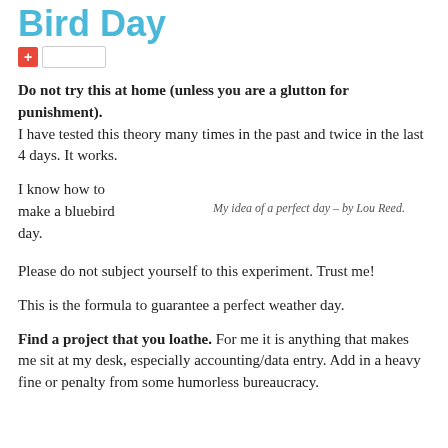Bird Day
[Figure (other): Red plus icon with white text followed by an empty white rectangle button]
Do not try this at home (unless you are a glutton for punishment). I have tested this theory many times in the past and twice in the last 4 days. It works.
I know how to make a bluebird day.
My idea of a perfect day – by Lou Reed.
Please do not subject yourself to this experiment. Trust me!
This is the formula to guarantee a perfect weather day.
Find a project that you loathe. For me it is anything that makes me sit at my desk, especially accounting/data entry. Add in a heavy fine or penalty from some humorless bureaucracy.